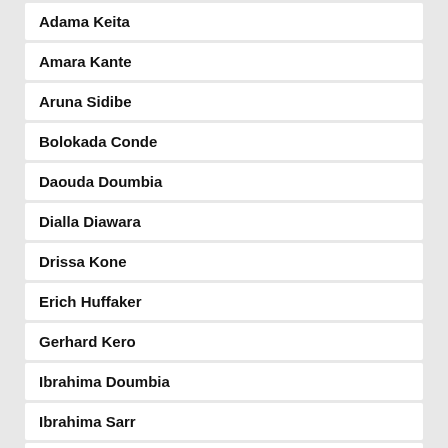Adama Keita
Amara Kante
Aruna Sidibe
Bolokada Conde
Daouda Doumbia
Dialla Diawara
Drissa Kone
Erich Huffaker
Gerhard Kero
Ibrahima Doumbia
Ibrahima Sarr
Issou Keita
Jeremy Chevrier
Kantara Sakho
Karim Coulibaly
Lamine Traore